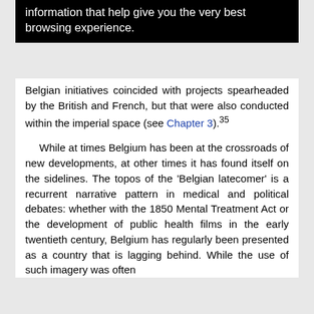information that help give you the very best browsing experience.
Belgian initiatives coincided with projects spearheaded by the British and French, but that were also conducted within the imperial space (see Chapter 3).35
While at times Belgium has been at the crossroads of new developments, at other times it has found itself on the sidelines. The topos of the ‘Belgian latecomer’ is a recurrent narrative pattern in medical and political debates: whether with the 1850 Mental Treatment Act or the development of public health films in the early twentieth century, Belgium has regularly been presented as a country that is lagging behind. While the use of such imagery was often